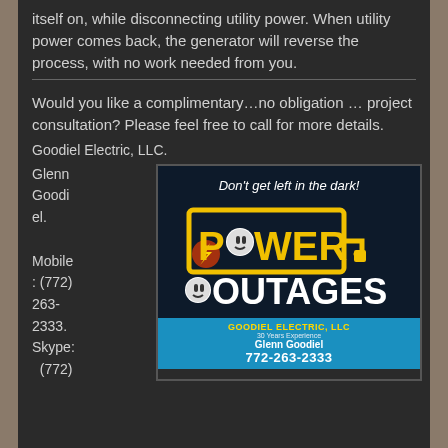itself on, while disconnecting utility power. When utility power comes back, the generator will reverse the process, with no work needed from you.
Would you like a complimentary…no obligation … project consultation? Please feel free to call for more details.
Goodiel Electric, LLC.
Glenn Goodiel.
Mobile: (772) 263-2333.
Skype: (772)
[Figure (infographic): Advertisement for Goodiel Electric LLC showing 'Don't get left in the dark!' tagline with Power Outages logo featuring yellow text and outlet/plug icons, and a blue banner at the bottom with company name, Glenn Goodiel, and phone number 772-263-2333.]